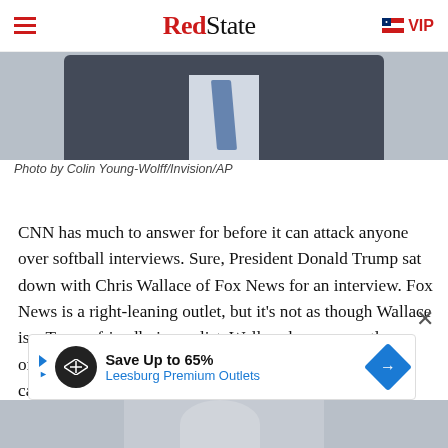RedState | VIP
[Figure (photo): Cropped photo of a man in a dark suit with a blue tie, against a light background. Photo by Colin Young-Wolff/Invision/AP]
Photo by Colin Young-Wolff/Invision/AP
CNN has much to answer for before it can attack anyone over softball interviews. Sure, President Donald Trump sat down with Chris Wallace of Fox News for an interview. Fox News is a right-leaning outlet, but it's not as though Wallace is a Trump-friendly journalist. Wallace has apparently offered Joe Biden the same opportunity, which the Biden camp appears to have turned down.
[Figure (infographic): Advertisement banner: Save Up to 65% Leesburg Premium Outlets]
[Figure (photo): Partially visible photo at the bottom of the page]